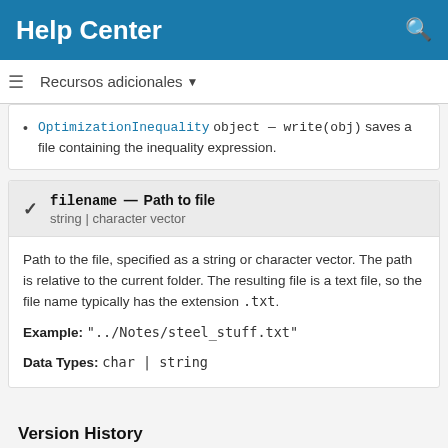Help Center
Recursos adicionales
OptimizationInequality object — write(obj) saves a file containing the inequality expression.
filename — Path to file
string | character vector
Path to the file, specified as a string or character vector. The path is relative to the current folder. The resulting file is a text file, so the file name typically has the extension .txt.

Example: "../Notes/steel_stuff.txt"

Data Types: char | string
Version History